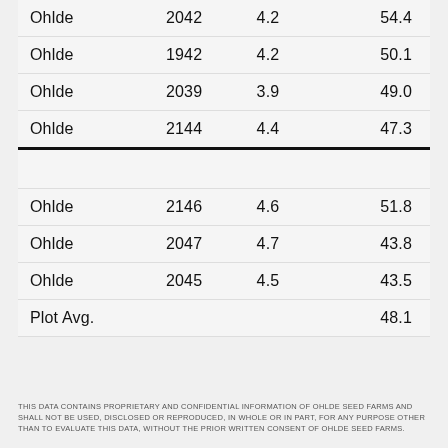| Ohlde | 2042 | 4.2 | 54.4 |
| Ohlde | 1942 | 4.2 | 50.1 |
| Ohlde | 2039 | 3.9 | 49.0 |
| Ohlde | 2144 | 4.4 | 47.3 |
|  |  |  |  |
| Ohlde | 2146 | 4.6 | 51.8 |
| Ohlde | 2047 | 4.7 | 43.8 |
| Ohlde | 2045 | 4.5 | 43.5 |
| Plot Avg. |  |  | 48.1 |
THIS DATA CONTAINS PROPRIETARY AND CONFIDENTIAL INFORMATION OF OHLDE SEED FARMS AND SHALL NOT BE USED, DISCLOSED OR REPRODUCED, IN WHOLE OR IN PART, FOR ANY PURPOSE OTHER THAN TO EVALUATE THIS DATA, WITHOUT THE PRIOR WRITTEN CONSENT OF OHLDE SEED FARMS.